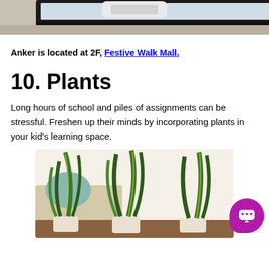[Figure (photo): Partial top view of a laptop or monitor on a desk, cropped at the top of the page.]
Anker is located at 2F, Festive Walk Mall.
10. Plants
Long hours of school and piles of assignments can be stressful. Freshen up their minds by incorporating plants in your kid's learning space.
[Figure (photo): Three snake plants (Sansevieria) in white pots on a wooden surface with a couch and cushion in the background.]